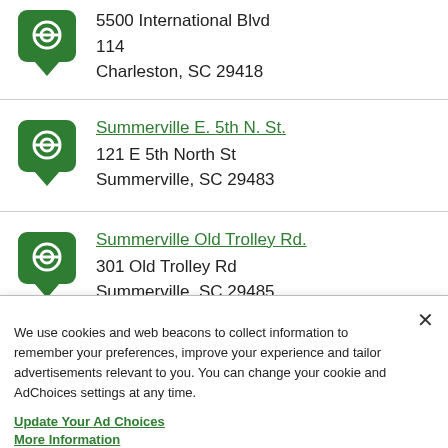5500 International Blvd 114, Charleston, SC 29418
Summervile E. 5th N. St.
121 E 5th North St
Summerville, SC 29483
Summerville Old Trolley Rd.
301 Old Trolley Rd
Summerville, SC 29485
We use cookies and web beacons to collect information to remember your preferences, improve your experience and tailor advertisements relevant to you. You can change your cookie and AdChoices settings at any time.
Update Your Ad Choices
More Information
Manage Your Settings